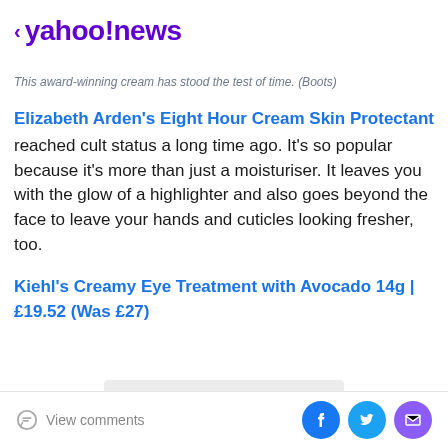< yahoo!news
This award-winning cream has stood the test of time. (Boots)
Elizabeth Arden's Eight Hour Cream Skin Protectant reached cult status a long time ago. It's so popular because it's more than just a moisturiser. It leaves you with the glow of a highlighter and also goes beyond the face to leave your hands and cuticles looking fresher, too.
Kiehl's Creamy Eye Treatment with Avocado 14g | £19.52 (Was £27)
[Figure (photo): Product image placeholder (light grey rectangle)]
View comments